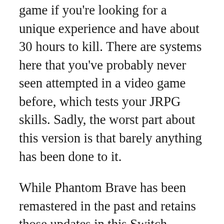game if you're looking for a unique experience and have about 30 hours to kill. There are systems here that you've probably never seen attempted in a video game before, which tests your JRPG skills. Sadly, the worst part about this version is that barely anything has been done to it.
While Phantom Brave has been remastered in the past and retains those updates in this Switch release, Soul Nomad & the World Eaters didn't receive that same love. Its screen resolution is kept to standard, and the in-game assets have only been upscaled. The text in dialogue has also been touched up, but that's simply the bare minimum. The problem with this port is that it...